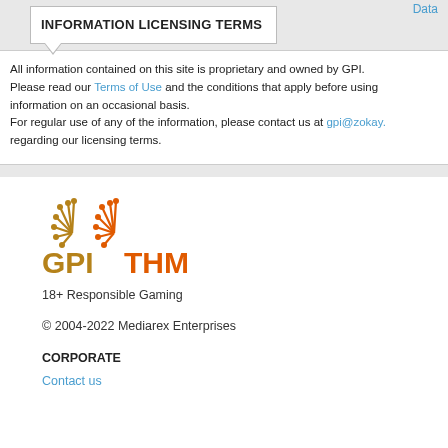Data
INFORMATION LICENSING TERMS
All information contained on this site is proprietary and owned by GPI. Please read our Terms of Use and the conditions that apply before using information on an occasional basis. For regular use of any of the information, please contact us at gpi@zokay. regarding our licensing terms.
[Figure (logo): GPI THM logo with orange and dark gold stylized wheat/arrow icons above text]
18+ Responsible Gaming
© 2004-2022 Mediarex Enterprises
CORPORATE
Contact us